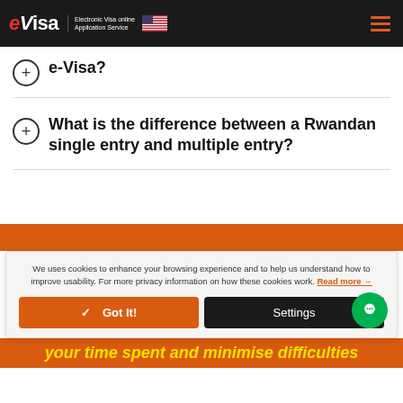eVisa Electronic Visa online Application Service
e-Visa?
What is the difference between a Rwandan single entry and multiple entry?
We uses cookies to enhance your browsing experience and to help us understand how to improve usability. For more privacy information on how these cookies work. Read more →
Got It! Settings
your time spent and minimise difficulties